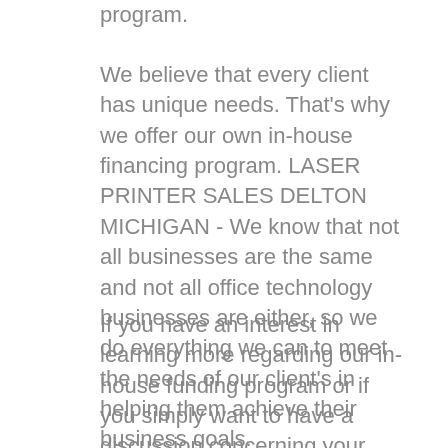program.
We believe that every client has unique needs. That's why we offer our own in-house financing program. LASER PRINTER SALES DELTON MICHIGAN - We know that not all businesses are the same and not all office technology businesses are either, so we do everything we can to meet the needs of our client's in helping them achieve their business goals.
If you have an interest in learning more regarding our in-house funding program or if you simply want to have a discussion concerning your business requirements, contact us as well as request a meeting with among our company modern technology professionals. Let us reveal